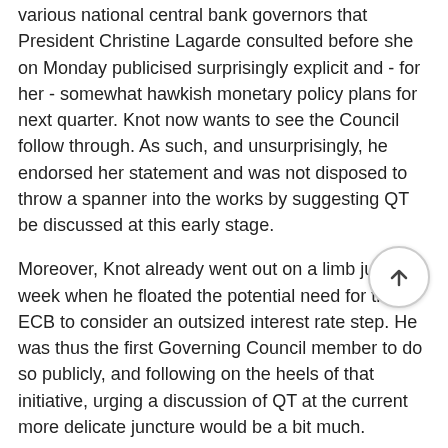various national central bank governors that President Christine Lagarde consulted before she on Monday publicised surprisingly explicit and - for her - somewhat hawkish monetary policy plans for next quarter. Knot now wants to see the Council follow through. As such, and unsurprisingly, he endorsed her statement and was not disposed to throw a spanner into the works by suggesting QT be discussed at this early stage.
Moreover, Knot already went out on a limb just last week when he floated the potential need for the ECB to consider an outsized interest rate step. He was thus the first Governing Council member to do so publicly, and following on the heels of that initiative, urging a discussion of QT at the current more delicate juncture would be a bit much.
In any case, we recall that Knot's 50-bp idea last week came just three months after he had advocated interest rate moves of the usual size, observing on February 6 that 'normally we take interest rate steps of 25 basis points ... and I have no reason to suppose that we will take any other step than that.'